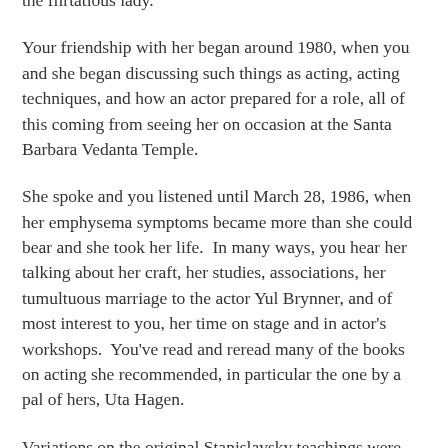the flirtatious lady.
Your friendship with her began around 1980, when you and she began discussing such things as acting, acting techniques, and how an actor prepared for a role, all of this coming from seeing her on occasion at the Santa Barbara Vedanta Temple.
She spoke and you listened until March 28, 1986, when her emphysema symptoms became more than she could bear and she took her life.  In many ways, you hear her talking about her craft, her studies, associations, her tumultuous marriage to the actor Yul Brynner, and of most interest to you, her time on stage and in actor's workshops.  You've read and reread many of the books on acting she recommended, in particular the one by a pal of hers, Uta Hagen.
Variations on the original Stanislavsky teachings were bound to proliferate as more actors, impressed with the